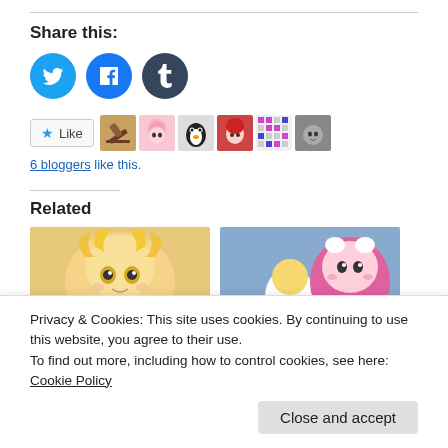Share this:
[Figure (illustration): Three social media share buttons: Twitter (light blue circle), Facebook (blue circle), Tumblr (dark blue circle)]
[Figure (illustration): Like button with star icon, followed by 6 blogger avatars]
6 bloggers like this.
Related
[Figure (photo): Anime girl with blonde hair and large golden eyes]
[Figure (photo): Anime scene with blonde and pink-haired characters]
Privacy & Cookies: This site uses cookies. By continuing to use this website, you agree to their use.
To find out more, including how to control cookies, see here: Cookie Policy
Close and accept